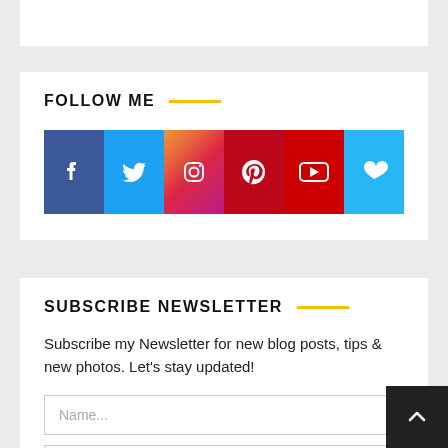FOLLOW ME
[Figure (infographic): Six social media icon buttons: Facebook (blue), Twitter (light blue), Instagram (gradient), Pinterest (red), YouTube (red), Bloglovin (light blue)]
SUBSCRIBE NEWSLETTER
Subscribe my Newsletter for new blog posts, tips & new photos. Let's stay updated!
Name...
Email...